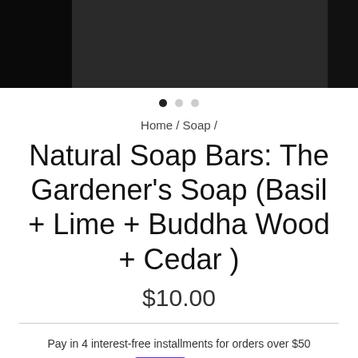[Figure (photo): Dark product image strip showing soap bars, three panel carousel]
Home / Soap /
Natural Soap Bars: The Gardener's Soap (Basil + Lime + Buddha Wood + Cedar )
$10.00
Pay in 4 interest-free installments for orders over $50 with shop Pay Learn more
ADD TO CART